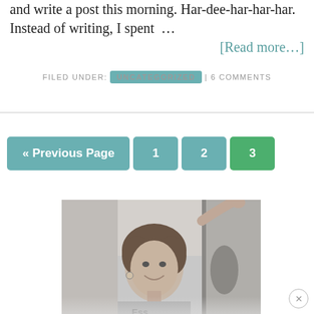and write a post this morning. Har-dee-har-har-har. Instead of writing, I spent ... [Read more...]
FILED UNDER: UNCATEGORIZED | 6 COMMENTS
« Previous Page  1  2  3
[Figure (photo): Black and white photo of a smiling woman with curly hair, arm raised, indoors]